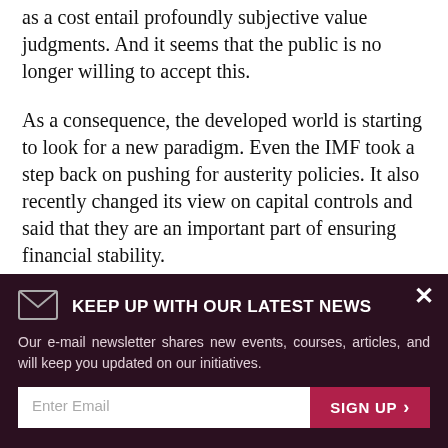as a cost entail profoundly subjective value judgments. And it seems that the public is no longer willing to accept this.
As a consequence, the developed world is starting to look for a new paradigm. Even the IMF took a step back on pushing for austerity policies. It also recently changed its view on capital controls and said that they are an important part of ensuring financial stability.
Maybe, the emergence of these trends means there is hope that economics will return to what it is – a social
[Figure (other): Email newsletter signup banner overlay with dark maroon background, envelope icon, heading 'KEEP UP WITH OUR LATEST NEWS', description text, email input field, and SIGN UP button]